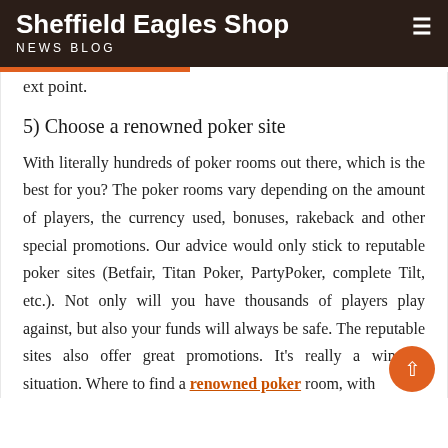Sheffield Eagles Shop
NEWS BLOG
ext point.
5) Choose a renowned poker site
With literally hundreds of poker rooms out there, which is the best for you? The poker rooms vary depending on the amount of players, the currency used, bonuses, rakeback and other special promotions. Our advice would only stick to reputable poker sites (Betfair, Titan Poker, PartyPoker, complete Tilt, etc.). Not only will you have thousands of players play against, but also your funds will always be safe. The reputable sites also offer great promotions. It's really a win-win situation. Where to find a renowned poker room, with